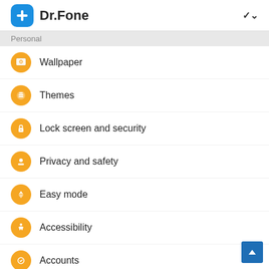Dr.Fone
Personal
Wallpaper
Themes
Lock screen and security
Privacy and safety
Easy mode
Accessibility
Accounts
Backup and reset
System
Language and input